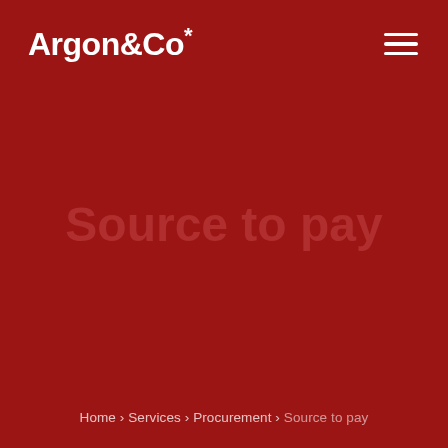[Figure (logo): Argon&Co logo with asterisk superscript in white on dark red background]
Source to pay
Home › Services › Procurement › Source to pay